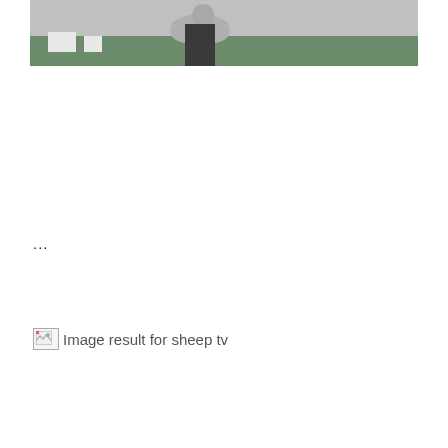[Figure (photo): A photo of an art gallery installation showing a sheep standing on a green platform/carpet, with a person's legs visible next to it. White pedestals with objects are visible on the left side of the image. The walls are gray/light colored.]
...
[Figure (photo): Broken image placeholder with icon and alt text 'Image result for sheep tv']